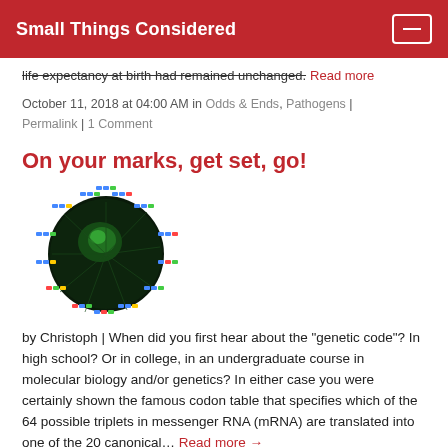Small Things Considered
life expectancy at birth had remained unchanged. Read more
October 11, 2018 at 04:00 AM in Odds & Ends, Pathogens | Permalink | 1 Comment
On your marks, get set, go!
[Figure (illustration): Circular diagram showing a dark green circular image (likely a colony or cell) surrounded by colorful dots/labels arranged radially around it, representing genetic code triplets or codons.]
by Christoph | When did you first hear about the "genetic code"? In high school? Or in college, in an undergraduate course in molecular biology and/or genetics? In either case you were certainly shown the famous codon table that specifies which of the 64 possible triplets in messenger RNA (mRNA) are translated into one of the 20 canonical… Read more →